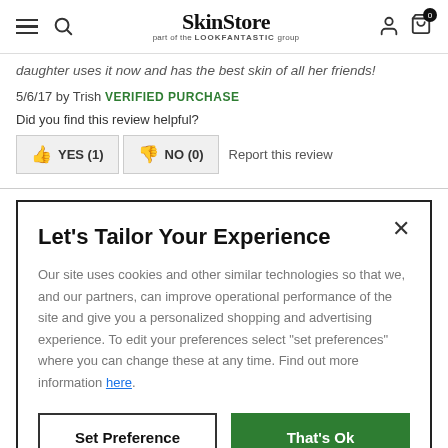SkinStore — part of the LOOKFANTASTIC group
daughter uses it now and has the best skin of all her friends!
5/6/17 by Trish  VERIFIED PURCHASE
Did you find this review helpful?
YES (1)  NO (0)  Report this review
Let's Tailor Your Experience
Our site uses cookies and other similar technologies so that we, and our partners, can improve operational performance of the site and give you a personalized shopping and advertising experience. To edit your preferences select "set preferences" where you can change these at any time. Find out more information here.
Set Preference   That's Ok